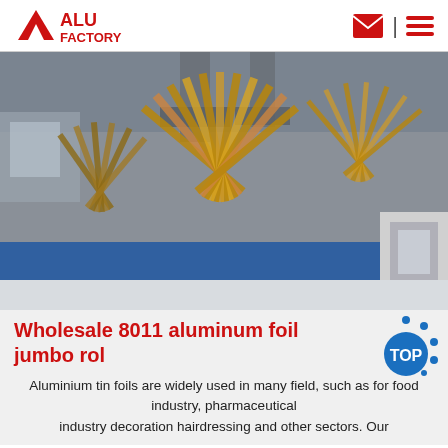ALU FACTORY
[Figure (photo): Industrial factory interior showing aluminum foil processing machinery with large fan-shaped spreads of copper/gold colored foil material on a blue conveyor line, with ventilation ducts overhead.]
Wholesale 8011 aluminum foil jumbo rol
Aluminium tin foils are widely used in many field, such as for food industry, pharmaceutical industry decoration hairdressing and other sectors. Our